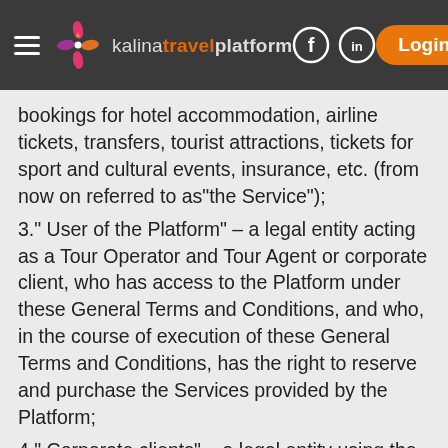kalinatravelplatform — Login
bookings for hotel accommodation, airline tickets, transfers, tourist attractions, tickets for sport and cultural events, insurance, etc. (from now on referred to as"the Service");
3." User of the Platform" – a legal entity acting as a Tour Operator and Tour Agent or corporate client, who has access to the Platform under these General Terms and Conditions, and who, in the course of execution of these General Terms and Conditions, has the right to reserve and purchase the Services provided by the Platform;
4." Corporate clients" – a legal entity using the Platform regarding the organisation of business trips of its staff and the organisation of seminars, conferences,